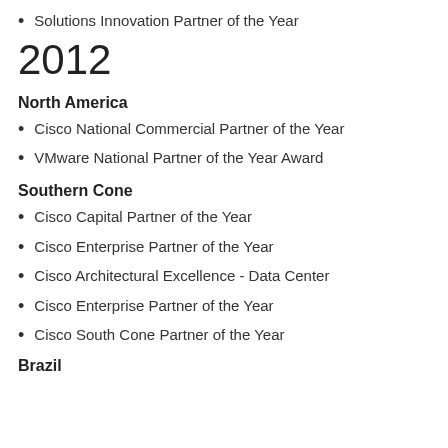Solutions Innovation Partner of the Year
2012
North America
Cisco National Commercial Partner of the Year
VMware National Partner of the Year Award
Southern Cone
Cisco Capital Partner of the Year
Cisco Enterprise Partner of the Year
Cisco Architectural Excellence - Data Center
Cisco Enterprise Partner of the Year
Cisco South Cone Partner of the Year
Brazil